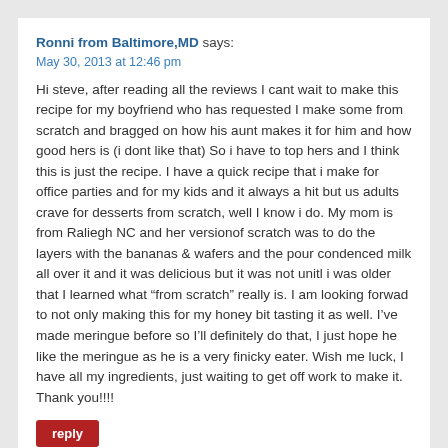Ronni from Baltimore,MD says:
May 30, 2013 at 12:46 pm
Hi steve, after reading all the reviews I cant wait to make this recipe for my boyfriend who has requested I make some from scratch and bragged on how his aunt makes it for him and how good hers is (i dont like that) So i have to top hers and I think this is just the recipe. I have a quick recipe that i make for office parties and for my kids and it always a hit but us adults crave for desserts from scratch, well I know i do. My mom is from Raliegh NC and her versionof scratch was to do the layers with the bananas & wafers and the pour condenced milk all over it and it was delicious but it was not unitl i was older that I learned what “from scratch” really is. I am looking forwad to not only making this for my honey bit tasting it as well. I’ve made meringue before so I’ll definitely do that, I just hope he like the meringue as he is a very finicky eater. Wish me luck, I have all my ingredients, just waiting to get off work to make it. Thank you!!!!
reply
Steve Gordon says:
May 30, 2013 at 1:12 pm